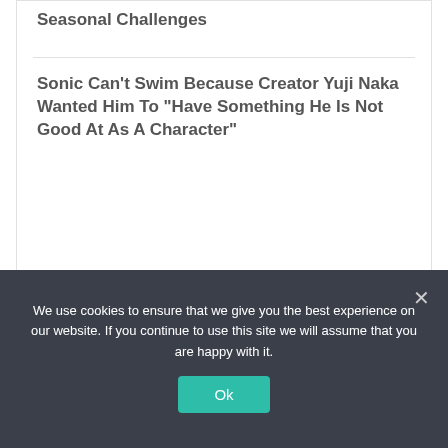Seasonal Challenges
Sonic Can't Swim Because Creator Yuji Naka Wanted Him To "Have Something He Is Not Good At As A Character"
We use cookies to ensure that we give you the best experience on our website. If you continue to use this site we will assume that you are happy with it.